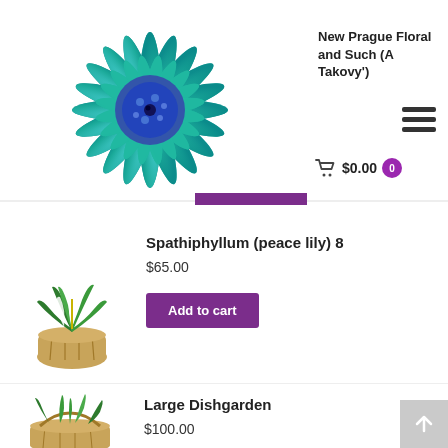[Figure (photo): Teal/turquoise gerbera daisy flower, close-up photo on white background]
New Prague Floral and Such (A Takovy')
[Figure (illustration): Hamburger menu icon (three horizontal lines)]
$0.00  0
Spathiphyllum (peace lily) 8
$65.00
[Figure (photo): Spathiphyllum (peace lily) plant in a basket]
Add to cart
Large Dishgarden
$100.00
[Figure (photo): Large dishgarden arrangement with various green plants in a basket]